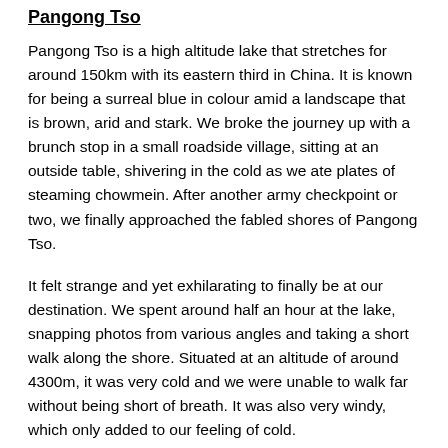Pangong Tso
Pangong Tso is a high altitude lake that stretches for around 150km with its eastern third in China. It is known for being a surreal blue in colour amid a landscape that is brown, arid and stark. We broke the journey up with a brunch stop in a small roadside village, sitting at an outside table, shivering in the cold as we ate plates of steaming chowmein. After another army checkpoint or two, we finally approached the fabled shores of Pangong Tso.
It felt strange and yet exhilarating to finally be at our destination. We spent around half an hour at the lake, snapping photos from various angles and taking a short walk along the shore. Situated at an altitude of around 4300m, it was very cold and we were unable to walk far without being short of breath. It was also very windy, which only added to our feeling of cold.